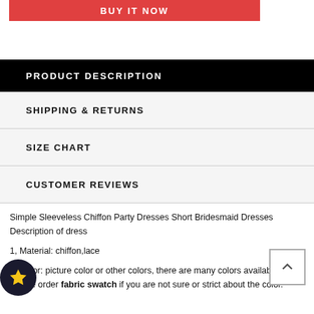[Figure (other): Red BUY IT NOW button bar]
PRODUCT DESCRIPTION
SHIPPING & RETURNS
SIZE CHART
CUSTOMER REVIEWS
Simple Sleeveless Chiffon Party Dresses Short Bridesmaid Dresses Description of dress
1, Material: chiffon,lace
2, Color: picture color or other colors, there are many colors available, please order fabric swatch if you are not sure or strict about the color.